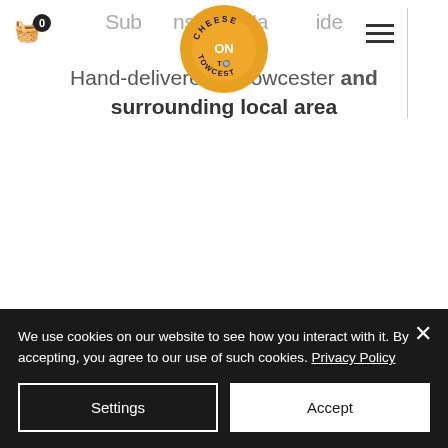[Figure (logo): Cheese on Towcest circular logo with orange background and black text]
Subscriptions with Nationwide Delivery
Hand-delivered in Towcester and surrounding local area
We use cookies on our website to see how you interact with it. By accepting, you agree to our use of such cookies. Privacy Policy
Settings
Accept